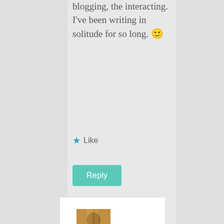blogging, the interacting. I've been writing in solitude for so long. 🙂
★ Like
Reply
[Figure (photo): Avatar/profile photo of Ms. Vee, a person shown in warm indoor lighting]
Ms. Vee
says:
July 19, 2013 at 10:51 pm